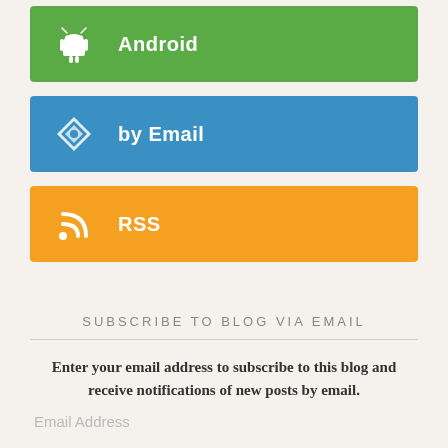Android
by Email
RSS
SUBSCRIBE TO BLOG VIA EMAIL
Enter your email address to subscribe to this blog and receive notifications of new posts by email.
Email Address